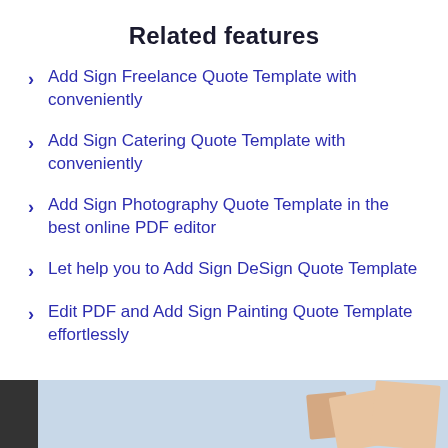Related features
Add Sign Freelance Quote Template with conveniently
Add Sign Catering Quote Template with conveniently
Add Sign Photography Quote Template in the best online PDF editor
Let help you to Add Sign DeSign Quote Template
Edit PDF and Add Sign Painting Quote Template effortlessly
[Figure (photo): Partial view of a document/image strip at the bottom of the page with a dark bar on the left and peach/beige colored paper documents on a light blue background]